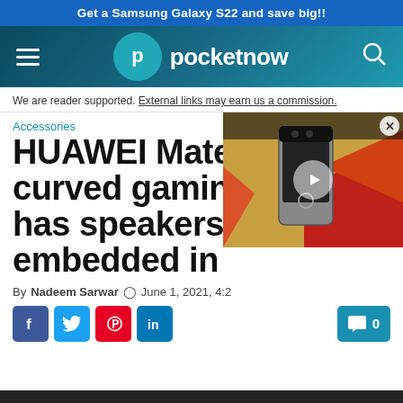Get a Samsung Galaxy S22 and save big!!
[Figure (logo): Pocketnow logo with hamburger menu icon and search icon on dark teal gradient navigation bar]
We are reader supported. External links may earn us a commission.
Accessories
HUAWEI MateView GT curved gaming monitor has speakers embedded in
By Nadeem Sarwar  June 1, 2021, 4:2
[Figure (screenshot): Video overlay showing a smartphone (Pixel 6) with red and orange background, with a play button. Close (X) button in top right corner.]
Social share buttons: Facebook, Twitter, Pinterest, LinkedIn. Comment count: 0